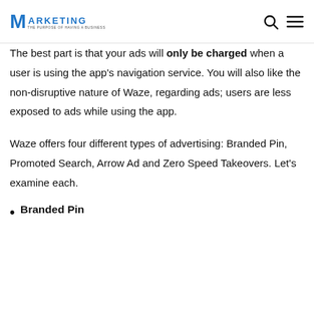Marketing
The best part is that your ads will only be charged when a user is using the app's navigation service. You will also like the non-disruptive nature of Waze, regarding ads; users are less exposed to ads while using the app.
Waze offers four different types of advertising: Branded Pin, Promoted Search, Arrow Ad and Zero Speed Takeovers. Let's examine each.
Branded Pin